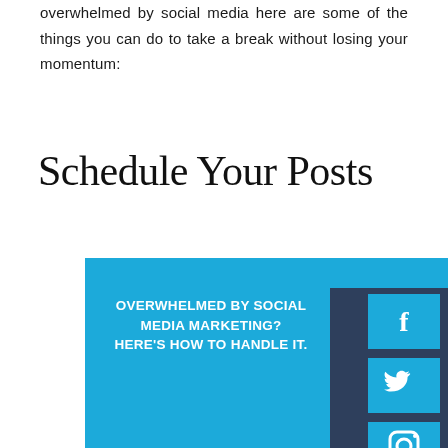overwhelmed by social media here are some of the things you can do to take a break without losing your momentum:
Schedule Your Posts
[Figure (infographic): Blue infographic tile with text 'OVERWHELMED BY SOCIAL MEDIA MARKETING? HERE'S HOW TO HANDLE IT.' on the left, and a dark panel on the right with Facebook, Twitter, and Instagram social media icons in light blue boxes.]